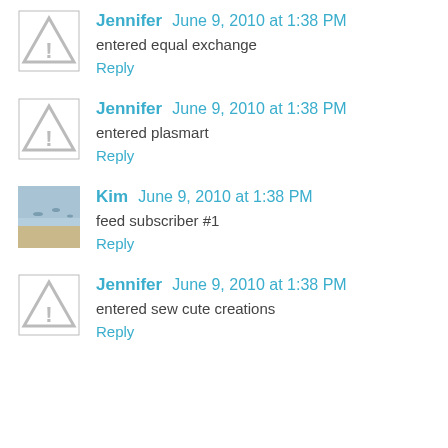Jennifer June 9, 2010 at 1:38 PM
entered equal exchange
Reply
Jennifer June 9, 2010 at 1:38 PM
entered plasmart
Reply
Kim June 9, 2010 at 1:38 PM
feed subscriber #1
Reply
Jennifer June 9, 2010 at 1:38 PM
entered sew cute creations
Reply